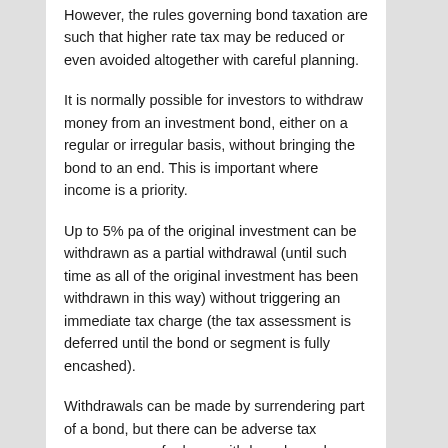However, the rules governing bond taxation are such that higher rate tax may be reduced or even avoided altogether with careful planning.
It is normally possible for investors to withdraw money from an investment bond, either on a regular or irregular basis, without bringing the bond to an end. This is important where income is a priority.
Up to 5% pa of the original investment can be withdrawn as a partial withdrawal (until such time as all of the original investment has been withdrawn in this way) without triggering an immediate tax charge (the tax assessment is deferred until the bond or segment is fully encashed).
Withdrawals can be made by surrendering part of a bond, but there can be adverse tax consequences for large withdrawals, and you